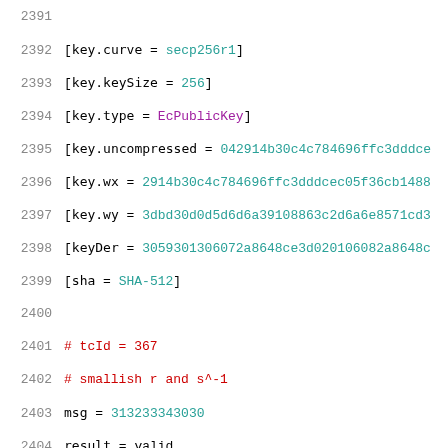2391
2392    [key.curve = secp256r1]
2393    [key.keySize = 256]
2394    [key.type = EcPublicKey]
2395    [key.uncompressed = 042914b30c4c784696ffc3dddce...
2396    [key.wx = 2914b30c4c784696ffc3dddcec05f36cb1488...
2397    [key.wy = 3dbd30d0d5d6d6a39108863c2d6a6e8571cd3...
2398    [keyDer = 3059301306072a8648ce3d020106082a8648c...
2399    [sha = SHA-512]
2400
2401    # tcId = 367
2402    # smallish r and s^-1
2403    msg = 313233343030
2404    result = valid
2405    sig = 302c02072d9b4d347952d6022100ef3043e732958...
2406
2407    [key.curve = secp256r1]
2408    [key.keySize = 256]
2409    [key.type = EcPublicKey]
2410    [key.uncompressed = 042579f546fe2f2aeb5f822feb2...
2411    [key.wx = 2579f546fe2f2aeb5f822feb28f2f8371618d...
2412    [key.wy = 5528e951147f76bee1314e65a49c6ec70686e...